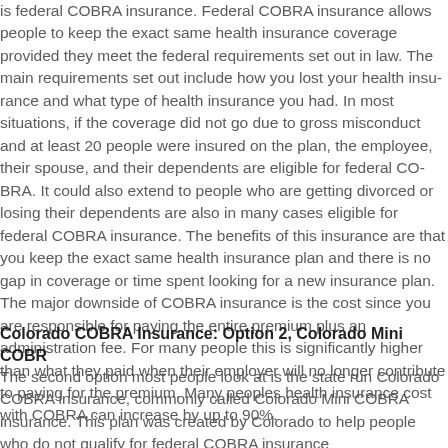is federal COBRA insurance. Federal COBRA insurance allows people to keep the exact same health insurance coverage provided they meet the federal requirements set out in law. The main requirements set out include how you lost your health insurance and what type of health insurance you had. In most situations, if the coverage did not go due to gross misconduct and at least 20 people were insured on the plan, the employee, their spouse, and their dependents are eligible for federal COBRA. It could also extend to people who are getting divorced or losing their dependents are also in many cases eligible for federal COBRA insurance. The benefits of this insurance are that you keep the exact same health insurance plan and there is no gap in coverage or time spent looking for a new insurance plan. The major downside of COBRA insurance is the cost since you are responsible for paying the entire premium plus an administration fee. For many people this is significantly higher than what they paid when their employer will no longer contribute to paying for the premium. Many peoples health insurance cost with COBRA can increase by up to 90%.
Colorado COBRA Insurance: Option 2, Colorado Mini COBRA
The second option most people look at is the state run Colorado COBRA insurance, commonly called Colorado Mini COBRA insurance. This plan was created by Colorado to help people who do not qualify for federal COBRA insurance